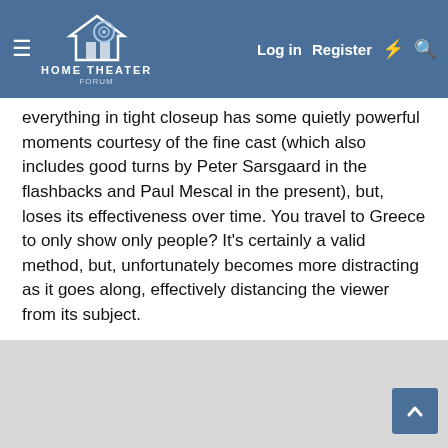HOME THEATER FORUM — Log in | Register
everything in tight closeup has some quietly powerful moments courtesy of the fine cast (which also includes good turns by Peter Sarsgaard in the flashbacks and Paul Mescal in the present), but, loses its effectiveness over time. You travel to Greece to only show only people? It's certainly a valid method, but, unfortunately becomes more distracting as it goes along, effectively distancing the viewer from its subject.
THE LOST DAUGHTER boasts some fine acting and has a potentially interesting tale to tell, but, the two halves never form a complete picture of a complicated woman. What's truly 'lost' here is a cleanly defined perspective.